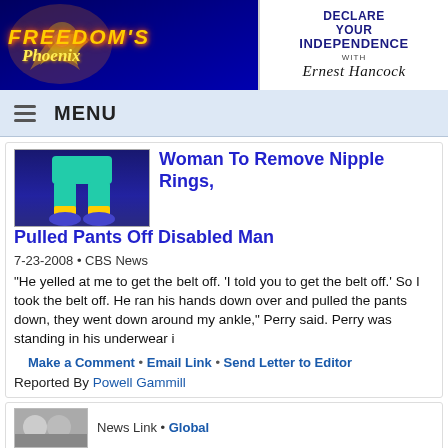[Figure (logo): Freedom's Phoenix website logo with phoenix bird graphic on dark blue background]
[Figure (logo): Declare Your Independence with Ernest Hancock logo/advertisement]
≡ MENU
[Figure (illustration): Cartoon character legs in teal outfit with yellow shoes]
Woman To Remove Nipple Rings, Pulled Pants Off Disabled Man
7-23-2008 • CBS News
"He yelled at me to get the belt off. 'I told you to get the belt off.' So I took the belt off. He ran his hands down over and pulled the pants down, they went down around my ankle," Perry said. Perry was standing in his underwear i
Make a Comment • Email Link • Send Letter to Editor
Reported By Powell Gammill
[Figure (photo): Small thumbnail photo of people, partially visible at bottom]
News Link • Global